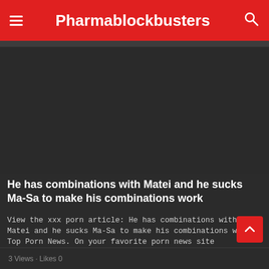Pharmablockbusters
[Figure (photo): Dark/black image placeholder area for an article image]
He has combinations with Matei and he sucks Ma-Sa to make his combinations work
View the xxx porn article: He has combinations with Matei and he sucks Ma-Sa to make his combinations work, Top Porn News. On your favorite porn news site PHARMABLOCKBUSTERS.INFO!
3 Views · Likes 0